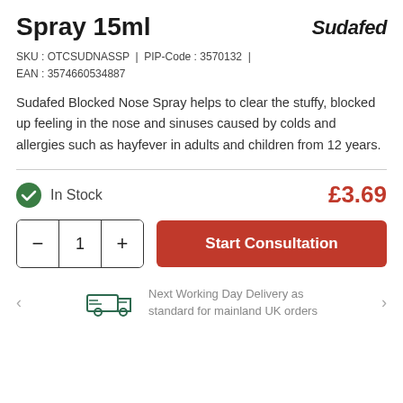Spray 15ml
[Figure (logo): Sudafed logo in bold italic black text]
SKU : OTCSUDNASSP | PIP-Code : 3570132 | EAN : 3574660534887
Sudafed Blocked Nose Spray helps to clear the stuffy, blocked up feeling in the nose and sinuses caused by colds and allergies such as hayfever in adults and children from 12 years.
In Stock  £3.69
Start Consultation
Next Working Day Delivery as standard for mainland UK orders